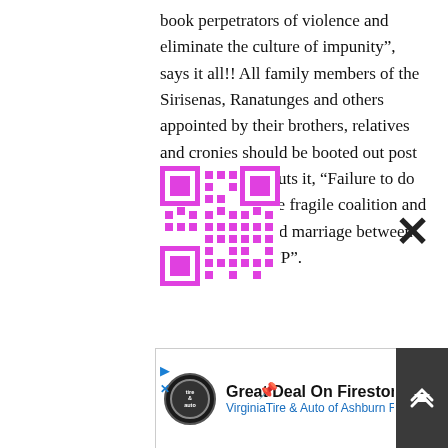book perpetrators of violence and eliminate the culture of impunity”, says it all!! All family members of the Sirisenas, Ranatunges and others appointed by their brothers, relatives and cronies should be booted out post haste, or, as CT puts it, “Failure to do so will destroy the fragile coalition and end the short-lived marriage between the UNP and SLFP”.
[Figure (other): QR code in pink/magenta color]
[Figure (other): Advertisement for Firestone Tires - Virginia Tire & Auto of Ashburn Fa.]